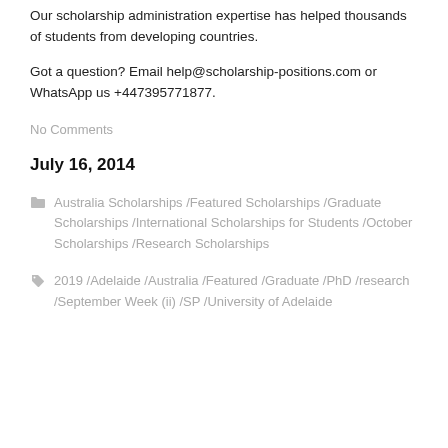Our scholarship administration expertise has helped thousands of students from developing countries.
Got a question? Email help@scholarship-positions.com or WhatsApp us +447395771877.
No Comments
July 16, 2014
Australia Scholarships /Featured Scholarships /Graduate Scholarships /International Scholarships for Students /October Scholarships /Research Scholarships
2019 /Adelaide /Australia /Featured /Graduate /PhD /research /September Week (ii) /SP /University of Adelaide